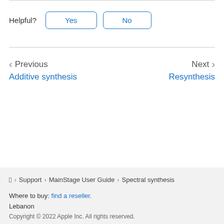Helpful?  Yes  No
Previous
Additive synthesis
Next
Resynthesis
Apple > Support > MainStage User Guide > Spectral synthesis
Where to buy: find a reseller.
Lebanon
Copyright © 2022 Apple Inc. All rights reserved.